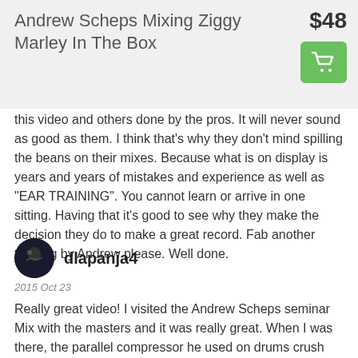Andrew Scheps Mixing Ziggy Marley In The Box
$48
this video and others done by the pros. It will never sound as good as them. I think that's why they don't mind spilling the beans on their mixes. Because what is on display is years and years of mistakes and experience as well as "EAR TRAINING". You cannot learn or arrive in one sitting. Having that it's good to see why they make the decision they do to make a great record. Fab another tutoring by Andrew please. Well done.
dlapanja4
2015 Oct 23
Really great video! I visited the Andrew Scheps seminar Mix with the masters and it was really great. When I was there, the parallel compressor he used on drums crush was UAD Fairchild 670. Someone of you asked about it. Hope it helps!